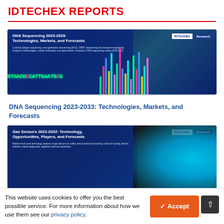IDTECHEX REPORTS
[Figure (photo): Cover image for DNA Sequencing 2023-2033 report: IDTechEx Research branding, colorful DNA sequencing chart visualization with glowing letters GTAACGCCATTGAATG and colored fluorescent peaks on dark blue background]
DNA Sequencing 2023-2033: Technologies, Markets, and Forecasts
[Figure (photo): Cover image for Gas Sensors 2022-2032 report: IDTechEx Research branding, dark background with blue glowing gas/smoke imagery]
Gas Sensors 2022-2032: Technology, Opportunities, Players, and Forecasts
This website uses cookies to offer you the best possible service. For more information about how we use them see our privacy policy.